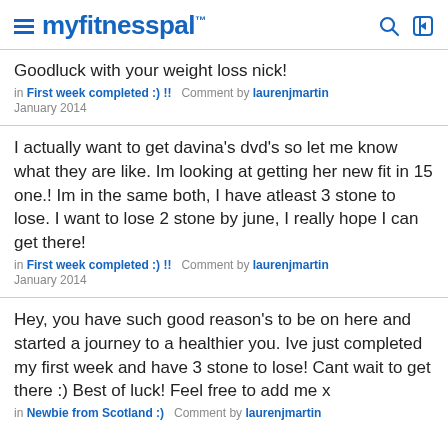myfitnesspal
Goodluck with your weight loss nick!
in First week completed :) !!  Comment by laurenjmartin January 2014
I actually want to get davina's dvd's so let me know what they are like. Im looking at getting her new fit in 15 one.! Im in the same both, I have atleast 3 stone to lose. I want to lose 2 stone by june, I really hope I can get there!
in First week completed :) !!  Comment by laurenjmartin January 2014
Hey, you have such good reason's to be on here and started a journey to a healthier you. Ive just completed my first week and have 3 stone to lose! Cant wait to get there :) Best of luck! Feel free to add me x
in Newbie from Scotland :)  Comment by laurenjmartin